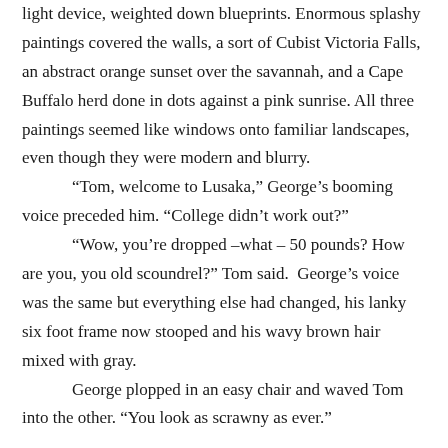light device, weighted down blueprints. Enormous splashy paintings covered the walls, a sort of Cubist Victoria Falls, an abstract orange sunset over the savannah, and a Cape Buffalo herd done in dots against a pink sunrise. All three paintings seemed like windows onto familiar landscapes, even though they were modern and blurry.
	“Tom, welcome to Lusaka,” George’s booming voice preceded him. “College didn’t work out?”
	“Wow, you’re dropped –what – 50 pounds? How are you, you old scoundrel?” Tom said.  George’s voice was the same but everything else had changed, his lanky six foot frame now stooped and his wavy brown hair mixed with gray.
	George plopped in an easy chair and waved Tom into the other. “You look as scrawny as ever.”